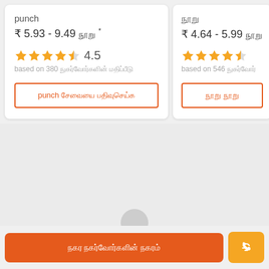punch
₹ 5.93 - 9.49 நூறு *
4.5
based on 380 நுகர்வோர்களின் மதிப்பீடு
punch சேவையை பதிவுசெய்க
நூறு
₹ 4.64 - 5.99 நூறு
based on 546 நுகர்வோர்
நூறு நூறு
நகர நகர்வோர்களின் நகரம்